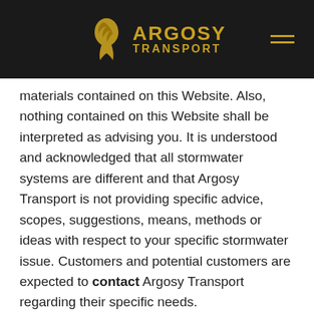ARGOSY TRANSPORT
materials contained on this Website. Also, nothing contained on this Website shall be interpreted as advising you. It is understood and acknowledged that all stormwater systems are different and that Argosy Transport is not providing specific advice, scopes, suggestions, means, methods or ideas with respect to your specific stormwater issue. Customers and potential customers are expected to contact Argosy Transport regarding their specific needs.
LIMITATION OF LIABILITY
In no event shall Argosy Transport, nor any of its officers, directors and employees, be held liable for